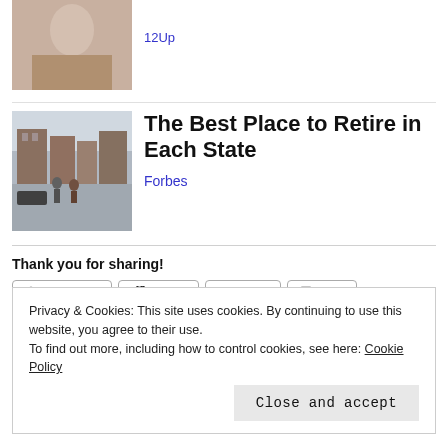[Figure (photo): Partial image of a person, cropped at top of page]
12Up
[Figure (photo): Street scene with buildings and people walking]
The Best Place to Retire in Each State
Forbes
Thank you for sharing!
Facebook
Twitter
Email
Print
Like
Be the first to like this.
Privacy & Cookies: This site uses cookies. By continuing to use this website, you agree to their use.
To find out more, including how to control cookies, see here: Cookie Policy
Close and accept